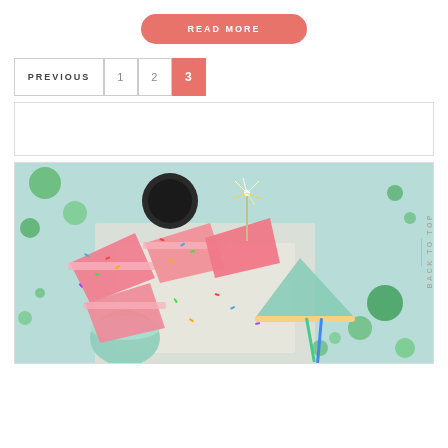READ MORE
PREVIOUS  1  2  3
[Figure (photo): Top-down view of pink frosted cake slices covered in rainbow sprinkles on a light blue surface, with green confetti circles, a dark coffee mug, a mint green party hat, a mint green cup, and sparklers. Party celebration theme.]
BACK TO TOP